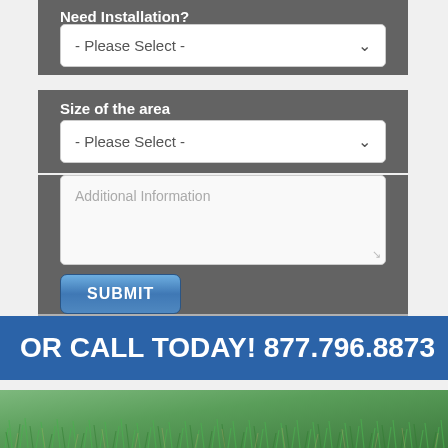Need Installation?
[Figure (screenshot): Dropdown select field labeled 'Please Select' for Need Installation]
Size of the area
[Figure (screenshot): Dropdown select field labeled 'Please Select' for Size of the area]
[Figure (screenshot): Textarea input with placeholder text 'Additional Information']
[Figure (screenshot): SUBMIT button, blue gradient]
OR CALL TODAY! 877.796.8873
[Figure (photo): Close-up photo of green artificial grass turf]